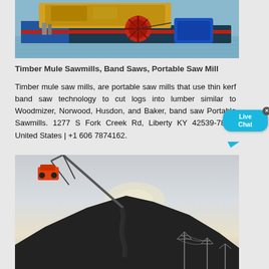[Figure (photo): Industrial machinery with yellow equipment and a red wheel/pulley on a blue background, appears to be on a boat or barge over water]
Timber Mule Sawmills, Band Saws, Portable Saw Mill
Timber mule saw mills, are portable saw mills that use thin kerf band saw technology to cut logs into lumber similar to Woodmizer, Norwood, Husdon, and Baker, band s... Portable Sawmills. 1277 S Fork Creek Rd, Liberty KY 42539-7868, United States | +1 606 7874162.
[Figure (photo): Industrial conveyor or crane depositing material (coal or aggregate) onto a large dark pile, with power line towers visible in the background against a hazy sky]